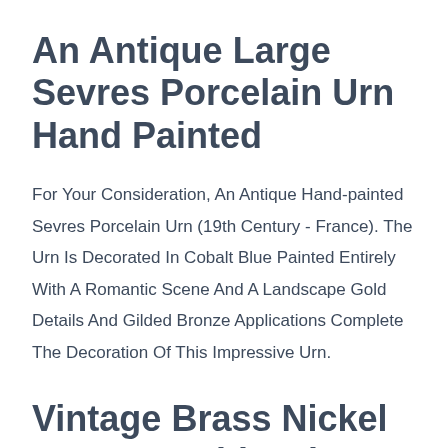An Antique Large Sevres Porcelain Urn Hand Painted
For Your Consideration, An Antique Hand-painted Sevres Porcelain Urn (19th Century - France). The Urn Is Decorated In Cobalt Blue Painted Entirely With A Romantic Scene And A Landscape Gold Details And Gilded Bronze Applications Complete The Decoration Of This Impressive Urn.
Vintage Brass Nickel Art Deco Ship Glass Ceiling Fixture 6 Light Chandelier Lamp